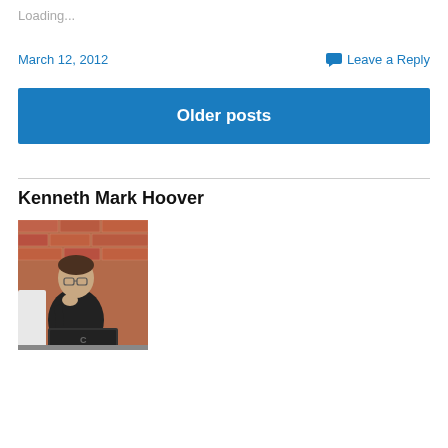Loading...
March 12, 2012
Leave a Reply
Older posts
Kenneth Mark Hoover
[Figure (photo): A man wearing glasses and a black shirt, sitting at a table working on a dark laptop computer, with a red brick wall in the background.]